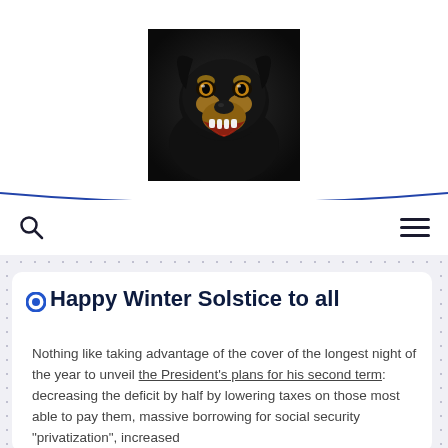[Figure (photo): Close-up photograph of a growling Rottweiler dog with mouth open showing teeth, black and tan coloring, dark background]
Happy Winter Solstice to all
Nothing like taking advantage of the cover of the longest night of the year to unveil the President's plans for his second term: decreasing the deficit by half by lowering taxes on those most able to pay them, massive borrowing for social security "privatization", increased